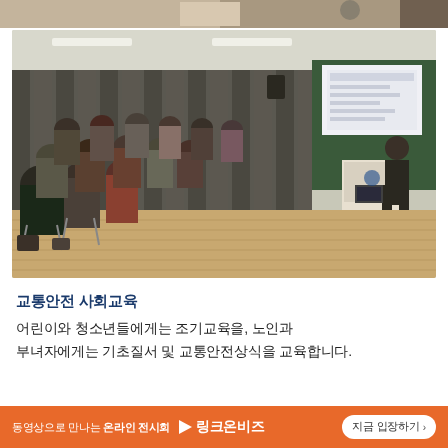[Figure (photo): A lecture hall scene with many seated adult attendees listening to a female presenter standing at a podium in front of a projection screen showing slides.]
교통안전 사회교육
어린이와 청소년들에게는 조기교육을, 노인과 부녀자에게는 기초질서 및 교통안전상식을 교육합니다.
동영상으로 만나는 온라인 전시회 ▶ 링크온비즈  지금 입장하기 ›